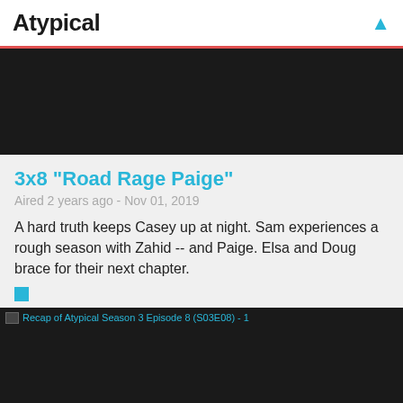Atypical
[Figure (screenshot): Dark video player placeholder at top of page]
3x8 "Road Rage Paige"
Aired 2 years ago - Nov 01, 2019
A hard truth keeps Casey up at night. Sam experiences a rough season with Zahid -- and Paige. Elsa and Doug brace for their next chapter.
[Figure (screenshot): Video player loading screen for Recap of Atypical Season 3 Episode 8 (S03E08) - 1, showing LOADING text at bottom]